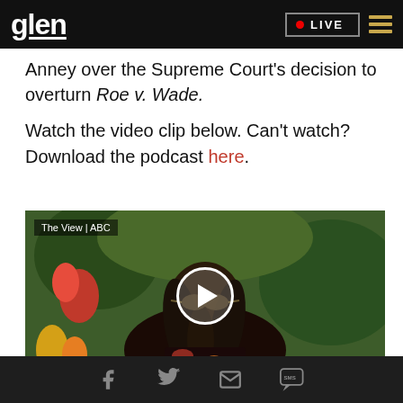glenn | LIVE
...Anney over the Supreme Court's decision to overturn Roe v. Wade.
Watch the video clip below. Can't watch? Download the podcast here.
[Figure (screenshot): Video thumbnail showing a woman with dreadlocks and sunglasses, tropical plants in background. Label reads 'The View | ABC'. White play button circle in center.]
Social share icons: Facebook, Twitter, Email, SMS